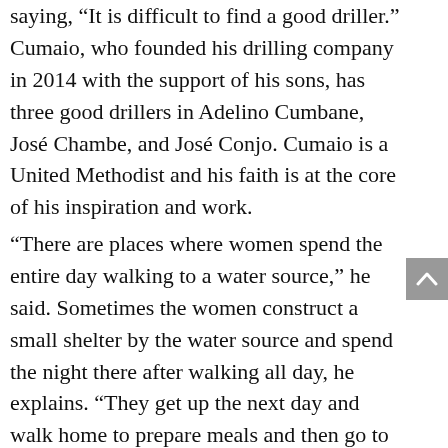saying, “It is difficult to find a good driller.” Cumaio, who founded his drilling company in 2014 with the support of his sons, has three good drillers in Adelino Cumbane, José Chambe, and José Conjo. Cumaio is a United Methodist and his faith is at the core of his inspiration and work.
“There are places where women spend the entire day walking to a water source,” he said. Sometimes the women construct a small shelter by the water source and spend the night there after walking all day, he explains. “They get up the next day and walk home to prepare meals and then go to fetch water again,”